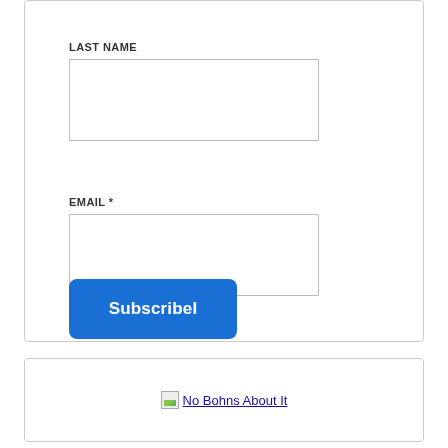LAST NAME
[Figure (screenshot): Empty text input box for Last Name field]
EMAIL *
[Figure (screenshot): Empty text input box for Email field]
SubscribeI
[Figure (screenshot): Broken image placeholder for No Bohns About It]